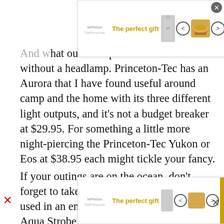[Figure (infographic): Advertisement banner at top: 'The perfect gift' with logo, product images (tall bottle, bowl with nuts), navigation arrows, and '35% OFF + FREE SHIPPING' badge in gold.]
And w...ts, what outdoors person would be without a headlamp. Princeton-Tec has an Aurora that I have found useful around camp and the home with its three different light outputs, and it's not a budget breaker at $29.95. For something a little more night-piercing the Princeton-Tec Yukon or Eos at $38.95 each might tickle your fancy.
If your outings are on the ocean, don't forget to take along a strobe light to be used in an emergency. The Princeton-Tec Aqua Strobe uses two AA batteries. It is lightweight and
[Figure (infographic): Advertisement banner at bottom: 'The perfect gift' with logo, product images, navigation arrows, and '35% OFF + FREE SHIPPING' badge in gold.]